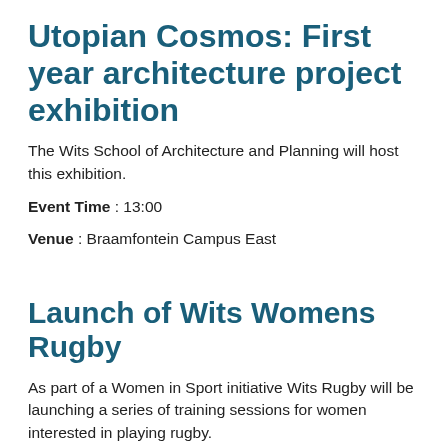Utopian Cosmos: First year architecture project exhibition
The Wits School of Architecture and Planning will host this exhibition.
Event Time : 13:00
Venue : Braamfontein Campus East
Launch of Wits Womens Rugby
As part of a Women in Sport initiative Wits Rugby will be launching a series of training sessions for women interested in playing rugby.
Event Time : 16:00
Venue : Braamfontein Campus East